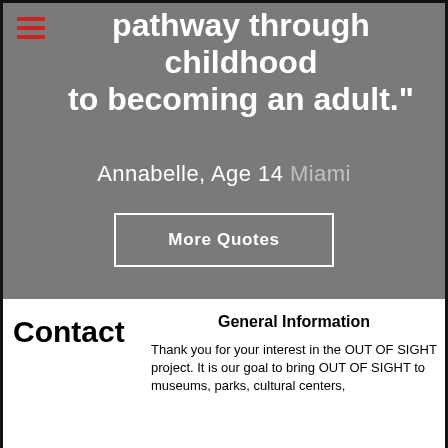pathway through childhood to becoming an adult.”
Annabelle, Age 14 Miami
More Quotes
Contact
General Information
Thank you for your interest in the OUT OF SIGHT project. It is our goal to bring OUT OF SIGHT to museums, parks, cultural centers,